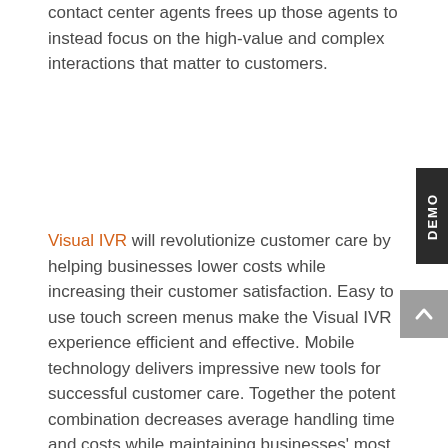contact center agents frees up those agents to instead focus on the high-value and complex interactions that matter to customers.
Visual IVR will revolutionize customer care by helping businesses lower costs while increasing their customer satisfaction. Easy to use touch screen menus make the Visual IVR experience efficient and effective. Mobile technology delivers impressive new tools for successful customer care. Together the potent combination decreases average handling time and costs while maintaining businesses' most vital resource: happy employees.